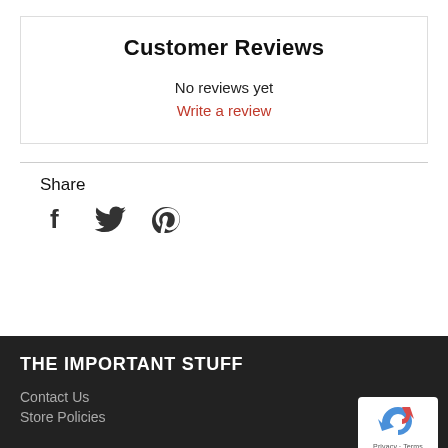Customer Reviews
No reviews yet
Write a review
Share
[Figure (illustration): Social share icons: Facebook (f), Twitter (bird), Pinterest (P)]
THE IMPORTANT STUFF
Contact Us
Store Policies
[Figure (logo): Google reCAPTCHA badge with recycle-arrow logo and Privacy - Terms text]